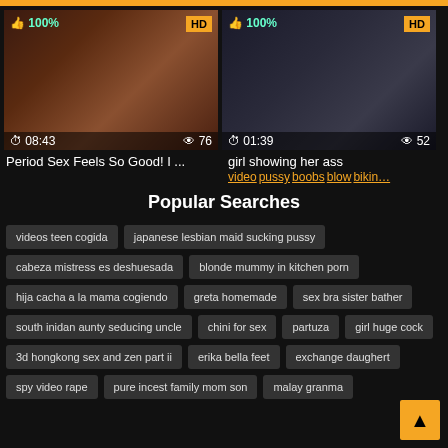[Figure (screenshot): Video thumbnail left: Period Sex Feels So Good! I ... Duration 08:43, Views 76, 100% rating, HD badge]
Period Sex Feels So Good! I ...
[Figure (screenshot): Video thumbnail right: girl showing her ass. Duration 01:39, Views 52, 100% rating, HD badge]
girl showing her ass
video pussy boobs blow bikin…
Popular Searches
videos teen cogida
japanese lesbian maid sucking pussy
cabeza mistress es deshuesada
blonde mummy in kitchen porn
hija cacha a la mama cogiendo
greta homemade
sex bra sister bather
south inidan aunty seducing uncle
chini for sex
partuza
girl huge cock
3d hongkong sex and zen part ii
erika bella feet
exchange daughert
spy video rape
pure incest family mom son
malay granma